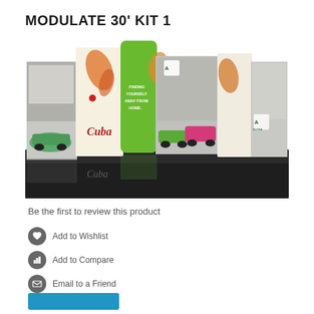MODULATE 30' KIT 1
[Figure (photo): Product photo of Modulate 30 foot Kit 1 trade show display system showing curved fabric panels with Cuba travel imagery including vintage classic cars in green and pink, architectural landmarks, and green accent curved tower panel. Display sits on a dark reflective base platform.]
Be the first to review this product
Add to Wishlist
Add to Compare
Email to a Friend